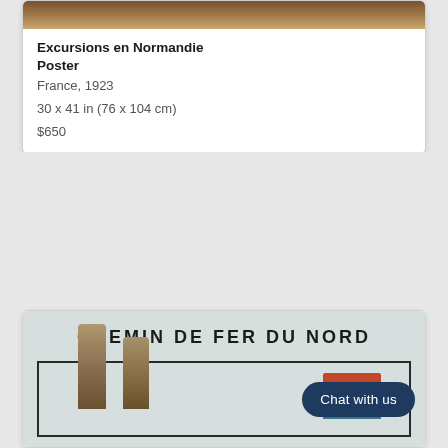[Figure (photo): Top portion of a framed vintage French travel poster, showing the bottom edge with warm brown/tan tones]
Excursions en Normandie Poster
France, 1923
30 x 41 in (76 x 104 cm)
$650
[Figure (photo): Vintage Chemin de Fer du Nord French railway poster showing classical columns and a heraldic crest on a teal/grey background, with 'CHEMIN DE FER DU NORD' text at top]
Chat with us